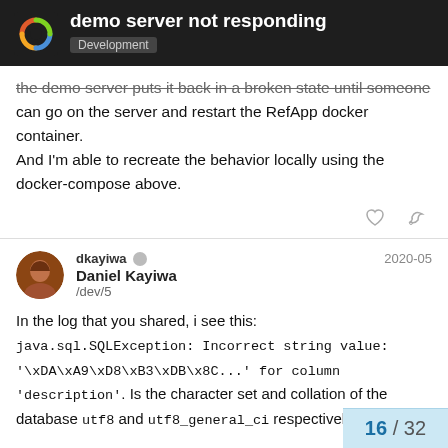demo server not responding | Development
the demo server puts it back in a broken state until someone can go on the server and restart the RefApp docker container. And I'm able to recreate the behavior locally using the docker-compose above.
dkayiwa Daniel Kayiwa /dev/5 2020-05
In the log that you shared, i see this: java.sql.SQLException: Incorrect string value: '\xDA\xA9\xD8\xB3\xDB\x8C...' for column 'description'. Is the character set and collation of the database utf8 and utf8_general_ci respectively?